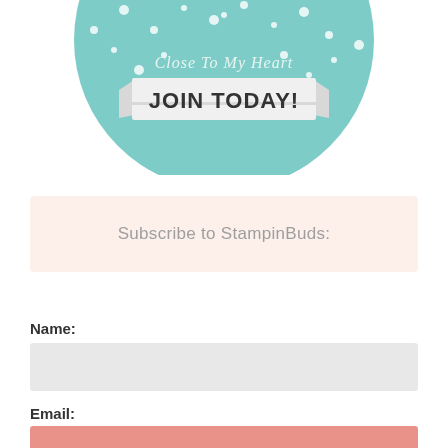[Figure (logo): Circular teal badge with white polka dots, text 'Close To My Heart' in light color at top, and a grey/white ribbon banner with bold black text 'JOIN TODAY!' in the center.]
Subscribe to StampinBuds:
Name:
Email: